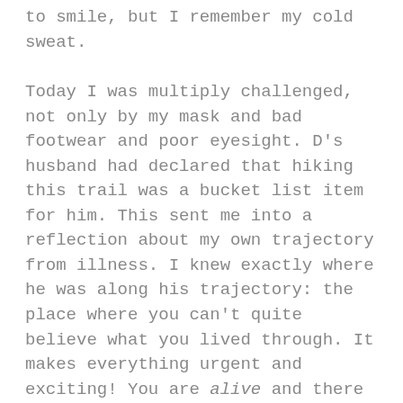to smile, but I remember my cold sweat.
Today I was multiply challenged, not only by my mask and bad footwear and poor eyesight. D's husband had declared that hiking this trail was a bucket list item for him. This sent me into a reflection about my own trajectory from illness. I knew exactly where he was along his trajectory: the place where you can't quite believe what you lived through. It makes everything urgent and exciting! You are alive and there are things that can't be put off any longer!
There is absolutely no problem with this approach. It got me through a grueling 25 mile bike ride a year after my brain tumor diagnosis, after all. I get it. I've absolutely been there. My problem today was facing